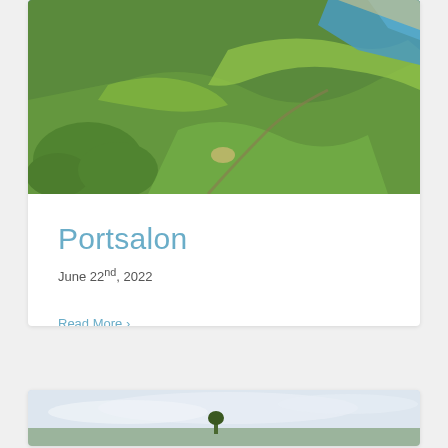[Figure (photo): Aerial view of Portsalon golf course with green fairways, dunes, and blue sea/beach in the background]
Portsalon
June 22nd, 2022
Read More >
[Figure (photo): Partial view of another golf course or landscape photo with sky, at the bottom of the page]